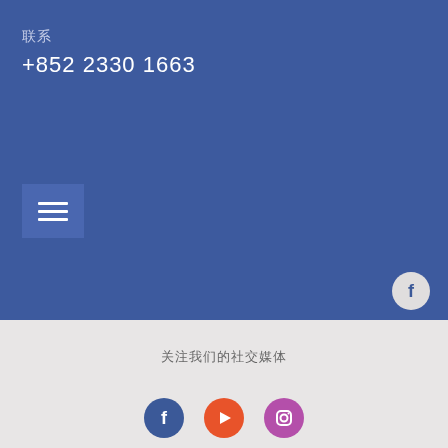联系
+852 2330 1663
[Figure (other): Hamburger menu button with three horizontal white lines on blue background]
[Figure (other): Facebook circle icon (white background)]
关注我们的社交媒体
[Figure (other): Social media icons row: Facebook (blue), YouTube (red-orange), Instagram (purple)]